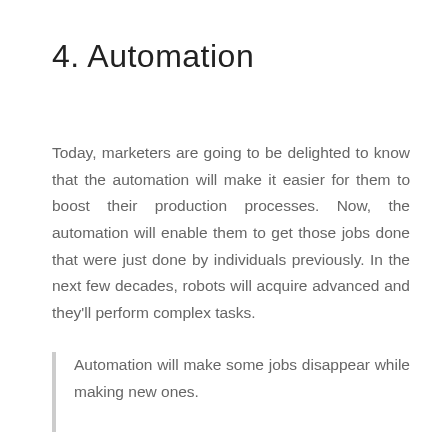4. Automation
Today, marketers are going to be delighted to know that the automation will make it easier for them to boost their production processes. Now, the automation will enable them to get those jobs done that were just done by individuals previously. In the next few decades, robots will acquire advanced and they'll perform complex tasks.
Automation will make some jobs disappear while making new ones.